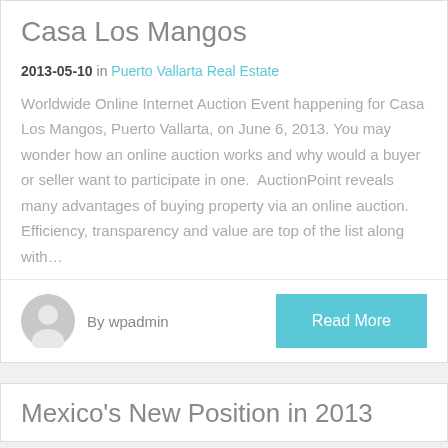Casa Los Mangos
2013-05-10 in Puerto Vallarta Real Estate
Worldwide Online Internet Auction Event happening for Casa Los Mangos, Puerto Vallarta, on June 6, 2013. You may wonder how an online auction works and why would a buyer or seller want to participate in one.  AuctionPoint reveals many advantages of buying property via an online auction. Efficiency, transparency and value are top of the list along with…
By wpadmin
Read More
Mexico's New Position in 2013